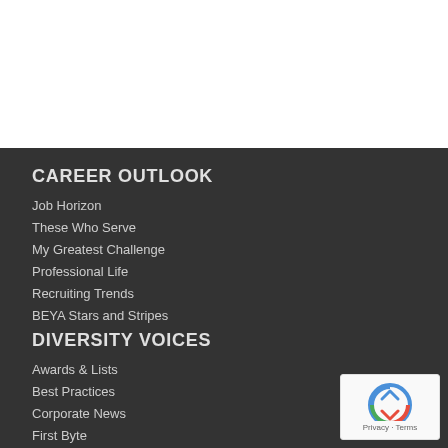CAREER OUTLOOK
Job Horizon
These Who Serve
My Greatest Challenge
Professional Life
Recruiting Trends
BEYA Stars and Stripes
DIVERSITY VOICES
Awards & Lists
Best Practices
Corporate News
First Byte
EDUCATION
Books
Leadership